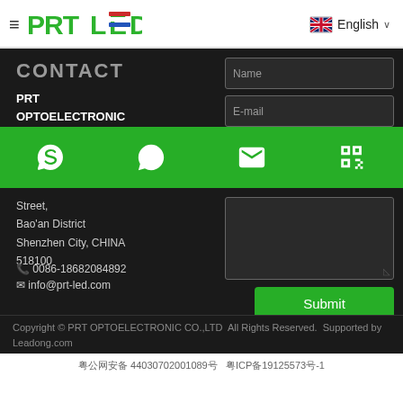[Figure (logo): PRTLED logo with hamburger menu icon on the left and English language selector on the right]
CONTACT
PRT OPTOELECTRONIC
[Figure (infographic): Green bar with Skype, WhatsApp, Email, and QR code icons]
Street, Bao'an District Shenzhen City, CHINA 518100
📞 0086-18682084892
✉ info@prt-led.com
Name (form input)
E-mail (form input)
Message textarea
Submit button
Copyright © PRT OPTOELECTRONIC CO.,LTD  All Rights Reserved.  Supported by Leadong.com
粤公网安备 44030702001089号  粤ICP备19125573号-1